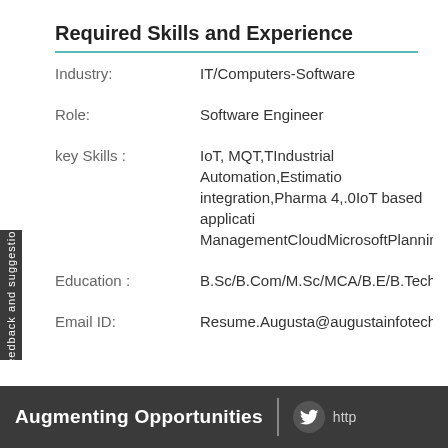Required Skills and Experience
| Field | Value |
| --- | --- |
| Industry: | IT/Computers-Software |
| Role: | Software Engineer |
| key Skills : | IoT, MQT,TIndustrial Automation,Estimation,integration,Pharma 4,.0IoT based applicati,ManagementCloudMicrosoftPlanningManu |
| Education : | B.Sc/B.Com/M.Sc/MCA/B.E/B.Tech |
| Email ID: | Resume.Augusta@augustainfotech.com |
Augmenting Opportunities  http